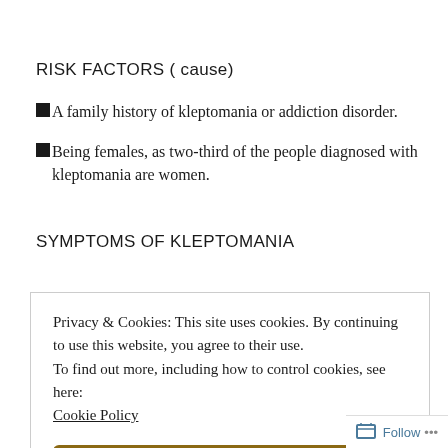RISK FACTORS ( cause)
A family history of kleptomania or addiction disorder.
Being females, as two-third of the people diagnosed with kleptomania are women.
SYMPTOMS OF KLEPTOMANIA
Privacy & Cookies: This site uses cookies. By continuing to use this website, you agree to their use.
To find out more, including how to control cookies, see here:
Cookie Policy
Close and accept